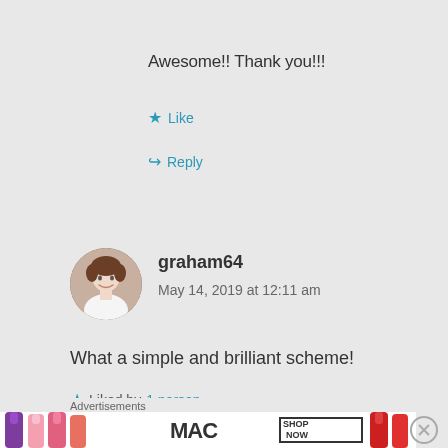Awesome!! Thank you!!!
★ Like
↪ Reply
[Figure (photo): Avatar photo of graham64, a person with brown hair wearing a white shirt, circular crop]
graham64
May 14, 2019 at 12:11 am
What a simple and brilliant scheme!
★ Liked by 1 person
↪ Reply
Advertisements
[Figure (photo): Advertisement for MAC cosmetics showing lipsticks in purple, pink, and red colors with SHOP NOW text]